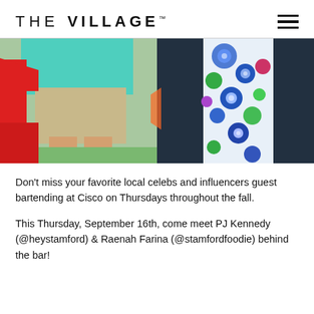THE VILLAGE
[Figure (photo): Two people standing outdoors. Left side shows a person in a teal/mint shirt and khaki shorts next to a large red geometric sculpture. Right side shows a person wearing colorful floral-patterned pants in blue, green, and white against a dark textured background.]
Don't miss your favorite local celebs and influencers guest bartending at Cisco on Thursdays throughout the fall.
This Thursday, September 16th, come meet PJ Kennedy (@heystamford) & Raenah Farina (@stamfordfoodie) behind the bar!